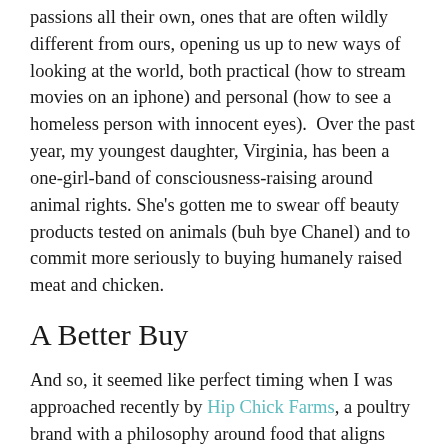passions all their own, ones that are often wildly different from ours, opening us up to new ways of looking at the world, both practical (how to stream movies on an iphone) and personal (how to see a homeless person with innocent eyes).  Over the past year, my youngest daughter, Virginia, has been a one-girl-band of consciousness-raising around animal rights. She's gotten me to swear off beauty products tested on animals (buh bye Chanel) and to commit more seriously to buying humanely raised meat and chicken.
A Better Buy
And so, it seemed like perfect timing when I was approached recently by Hip Chick Farms, a poultry brand with a philosophy around food that aligns very much with our new world order. Founded by two women, one of whom is a chef who worked under Alice Waters of Chez Panisse, the company makes a line of organic, locally sourced poultry products that are certified by the Global